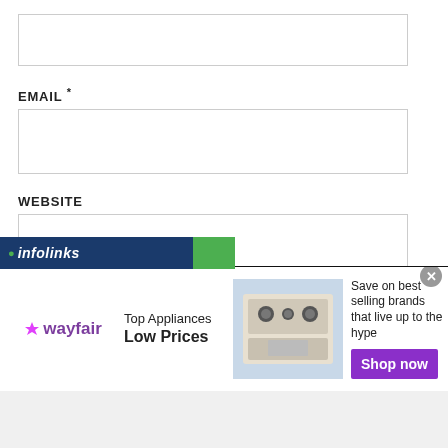[Figure (screenshot): Text input box at the top of the form (likely Name field)]
EMAIL *
[Figure (screenshot): Email input text field]
WEBSITE
[Figure (screenshot): Website input text field]
Save my name, email, and website in this browser for the next time I comment.
[Figure (screenshot): Infolinks and Wayfair advertisement banner showing Top Appliances Low Prices with Shop now button]